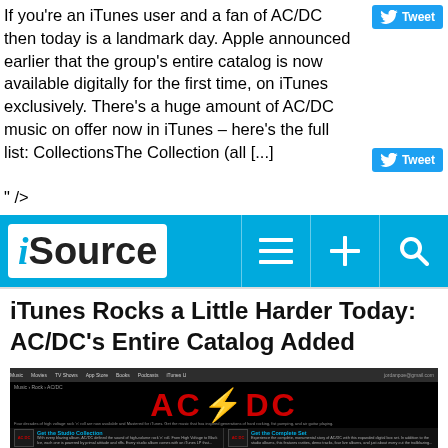If you're an iTunes user and a fan of AC/DC then today is a landmark day. Apple announced earlier that the group's entire catalog is now available digitally for the first time, on iTunes exclusively. There's a huge amount of AC/DC music on offer now in iTunes – here's the full list: CollectionsThe Collection (all [...] " />
[Figure (screenshot): iSource website header bar with logo, hamburger menu, plus, and search icons on cyan/blue background]
iTunes Rocks a Little Harder Today: AC/DC's Entire Catalog Added
[Figure (screenshot): Screenshot of the iTunes store page for AC/DC showing the AC/DC logo in red on black background, with breadcrumb navigation, description text, and collection panels at the bottom]